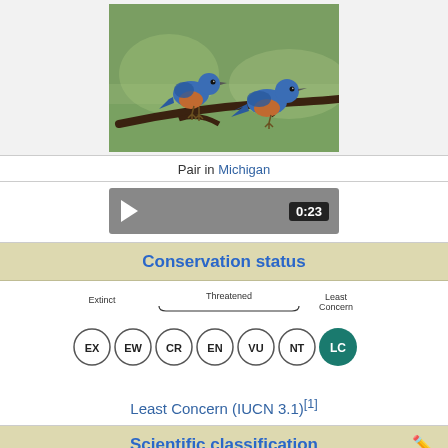[Figure (photo): Two eastern bluebirds (male and female) perched on a branch in Michigan. Blue and rust-colored plumage visible.]
Pair in Michigan
[Figure (other): Video player showing bird audio/video clip, duration 0:23]
Conservation status
[Figure (infographic): IUCN conservation status diagram showing EX, EW, CR, EN, VU, NT, LC circles with LC highlighted in teal. Labels: Extinct (EX, EW), Threatened (CR, EN, VU), Least Concern (NT, LC).]
Least Concern (IUCN 3.1)[1]
Scientific classification
|  |  |
| --- | --- |
| Kingdom: | Animalia |
| Phylum: | Chordata |